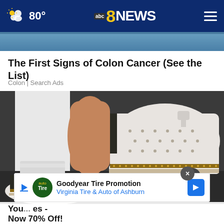80° abc 8 NEWS
[Figure (photo): Partial photo strip at top of article, showing blue background]
The First Signs of Colon Cancer (See the List)
Colon | Search Ads
[Figure (photo): Close-up photo of person wearing white perforated slip-on sneakers/espadrilles with tan trim on white pants, standing on a dark surface]
Goodyear Tire Promotion
Virginia Tire & Auto of Ashburn
You... es -
Now 70% Off!